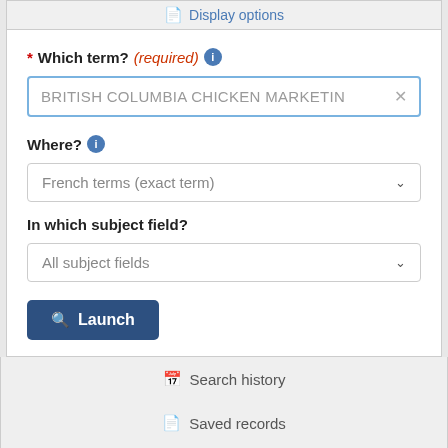Display options
* Which term? (required)
BRITISH COLUMBIA CHICKEN MARKETIN ✕
Where?
French terms (exact term)
In which subject field?
All subject fields
Launch
Search history
Saved records
Suggestions